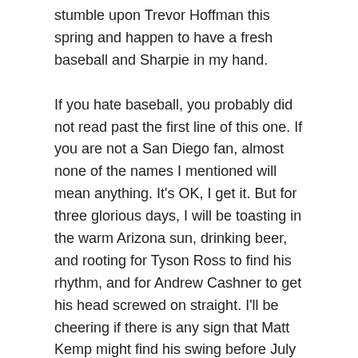stumble upon Trevor Hoffman this spring and happen to have a fresh baseball and Sharpie in my hand.
If you hate baseball, you probably did not read past the first line of this one. If you are not a San Diego fan, almost none of the names I mentioned will mean anything. It's OK, I get it. But for three glorious days, I will be toasting in the warm Arizona sun, drinking beer, and rooting for Tyson Ross to find his rhythm, and for Andrew Cashner to get his head screwed on straight. I'll be cheering if there is any sign that Matt Kemp might find his swing before July this year, and that Wil Myers will get through the season without having his wrist fall apart.
Any baseball fan knows that spring training is the